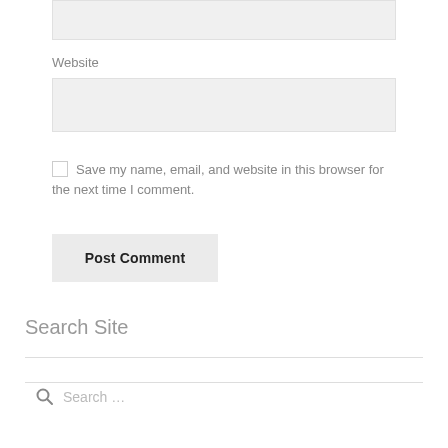Website
Save my name, email, and website in this browser for the next time I comment.
Post Comment
Search Site
Search …